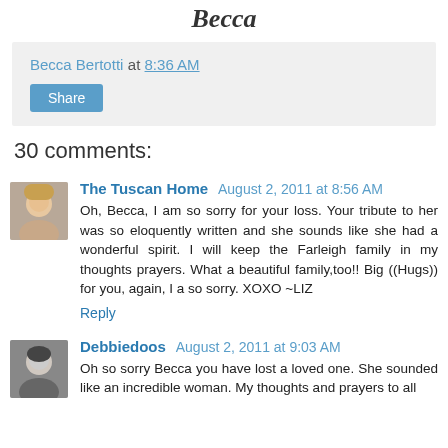Becca
Becca Bertotti at 8:36 AM
Share
30 comments:
The Tuscan Home August 2, 2011 at 8:56 AM
Oh, Becca, I am so sorry for your loss. Your tribute to her was so eloquently written and she sounds like she had a wonderful spirit. I will keep the Farleigh family in my thoughts prayers. What a beautiful family,too!! Big ((Hugs)) for you, again, I a so sorry. XOXO ~LIZ
Reply
Debbiedoos August 2, 2011 at 9:03 AM
Oh so sorry Becca you have lost a loved one. She sounded like an incredible woman. My thoughts and prayers to all